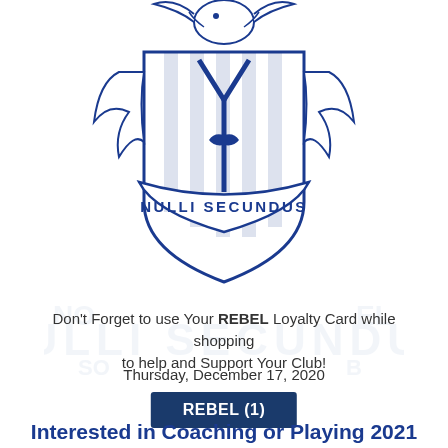[Figure (logo): Blue and white heraldic crest/shield with 'NULLI SECUNDUS' motto banner, featuring a bird at top, ornate shield with vertical stripes and cross, flanked by decorative supporters]
Don't Forget to use Your REBEL Loyalty Card while shopping to help and Support Your Club!
Thursday, December 17, 2020
REBEL (1)
Interested in Coaching or Playing 2021